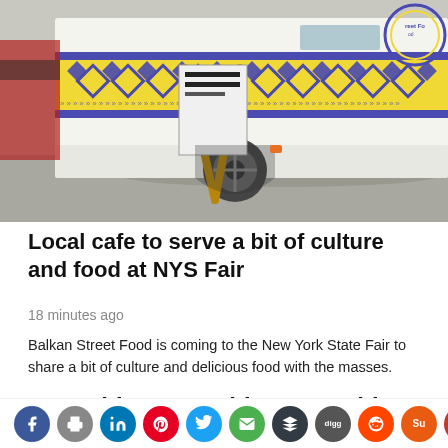[Figure (photo): A decorated food truck with yellow and blue diamond/geometric pattern band, a circular logo partially visible, and a wooden A-frame sign leaning against it, parked on pavement.]
Local cafe to serve a bit of culture and food at NYS Fair
18 minutes ago
Balkan Street Food is coming to the New York State Fair to share a bit of culture and delicious food with the masses.
Something something something f...